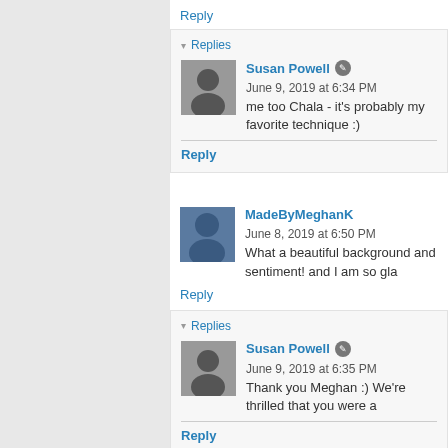Reply
▾ Replies
Susan Powell  June 9, 2019 at 6:34 PM
me too Chala - it's probably my favorite technique :)
Reply
MadeByMeghanK  June 8, 2019 at 6:50 PM
What a beautiful background and sentiment! and I am so gla
Reply
▾ Replies
Susan Powell  June 9, 2019 at 6:35 PM
Thank you Meghan :) We're thrilled that you were a
Reply